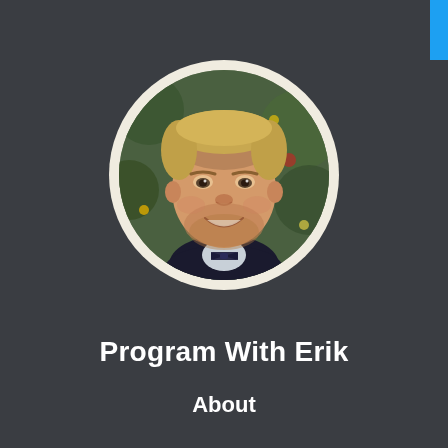[Figure (photo): Circular profile photo of a smiling man with blonde hair and beard, wearing a dark jacket with a bow tie, with a Christmas tree in the background. White/cream circular border around the photo.]
Program With Erik
About